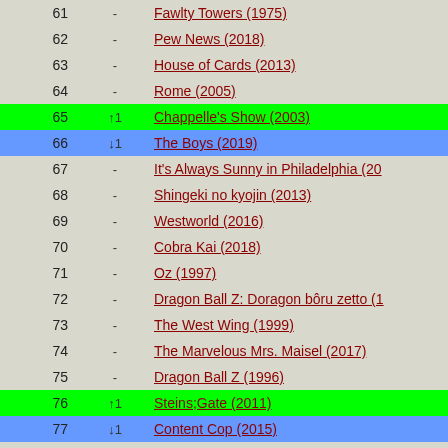| Rank | Change | Title |
| --- | --- | --- |
| 61 | - | Fawlty Towers (1975) |
| 62 | - | Pew News (2018) |
| 63 | - | House of Cards (2013) |
| 64 | - | Rome (2005) |
| 65 | ↑1 | Chappelle's Show (2003) |
| 66 | ↓1 | The Boys (2019) |
| 67 | - | It's Always Sunny in Philadelphia (20... |
| 68 | - | Shingeki no kyojin (2013) |
| 69 | - | Westworld (2016) |
| 70 | - | Cobra Kai (2018) |
| 71 | - | Oz (1997) |
| 72 | - | Dragon Ball Z: Doragon bôru zetto (1... |
| 73 | - | The West Wing (1999) |
| 74 | - | The Marvelous Mrs. Maisel (2017) |
| 75 | - | Dragon Ball Z (1996) |
| 76 | ↑1 | Steins;Gate (2011) |
| 77 | ↓1 | Content Cop (2015) |
| 78 | - | Leyla ile Mecnun (2011) |
| 79 | - | I, Claudius (1976) |
| 80 | - | Kota Factory (2019) |
| 81 | - | Sarabhai vs Sarabhai (2004) |
| 82 | - | The Jinx: The Life and Deaths of Ro... |
| 83 | - | Dark (2017) |
| 84 | - | The Adventures of Sherlock Holmes... |
| 85 | - | Justice League Unlimited (2004) |
| 86 | ↑1 | Fleabag (2016) |
| 87 | ↓1 | Demon Slayer: Kimetsu No Yaiba (2... |